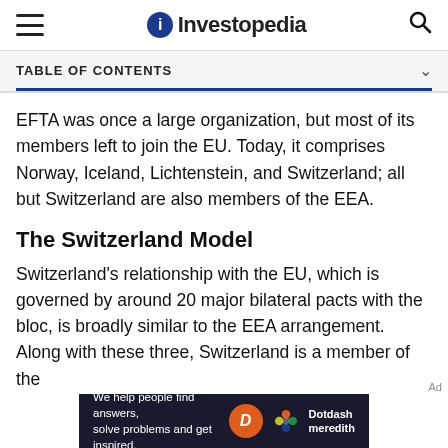Investopedia
TABLE OF CONTENTS
EFTA was once a large organization, but most of its members left to join the EU. Today, it comprises Norway, Iceland, Lichtenstein, and Switzerland; all but Switzerland are also members of the EEA.
The Switzerland Model
Switzerland's relationship with the EU, which is governed by around 20 major bilateral pacts with the bloc, is broadly similar to the EEA arrangement. Along with these three, Switzerland is a member of the
[Figure (other): Dotdash Meredith advertisement banner at the bottom of the page]